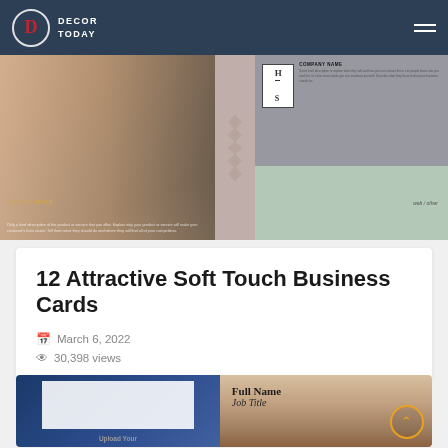DECOR TODAY
[Figure (photo): Top banner image showing business card design templates: left side shows two women faces for beauty/fashion, middle has geometric diamond pattern, right shows a business card with H/S company logo and a person in a suit, with green-tinted section below]
12 Attractive Soft Touch Business Cards
March 6, 2022
30,398 views
[Figure (photo): Bottom article card with two images: left shows a blue business card upload template with white card in center and 'Upload Your' text, right shows stacked books/business cards with 'Full Name' and 'Job Title' text in elegant serif font]